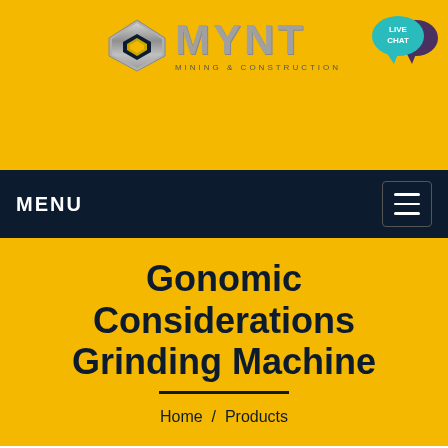[Figure (logo): MYNT Mining & Construction logo with metallic diamond shape icon and stylized MYNT text]
[Figure (infographic): Live Chat speech bubble icon in teal/cyan color with dark purple chat bubble behind]
MENU
Gonomic Considerations Grinding Machine
Home / Products